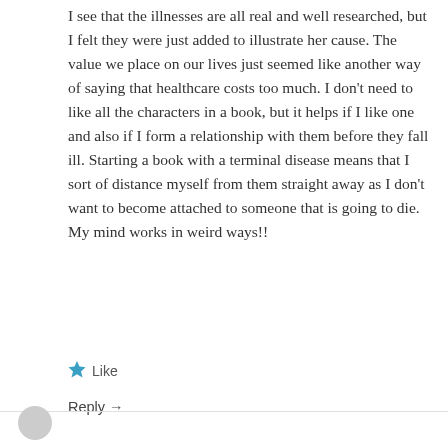I see that the illnesses are all real and well researched, but I felt they were just added to illustrate her cause. The value we place on our lives just seemed like another way of saying that healthcare costs too much. I don't need to like all the characters in a book, but it helps if I like one and also if I form a relationship with them before they fall ill. Starting a book with a terminal disease means that I sort of distance myself from them straight away as I don't want to become attached to someone that is going to die. My mind works in weird ways!!
★ Like
Reply →